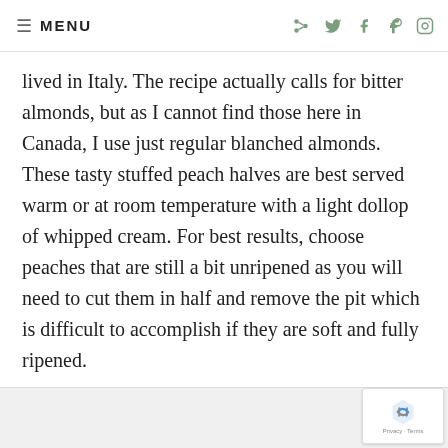≡ MENU
lived in Italy. The recipe actually calls for bitter almonds, but as I cannot find those here in Canada, I use just regular blanched almonds. These tasty stuffed peach halves are best served warm or at room temperature with a light dollop of whipped cream. For best results, choose peaches that are still a bit unripened as you will need to cut them in half and remove the pit which is difficult to accomplish if they are soft and fully ripened.